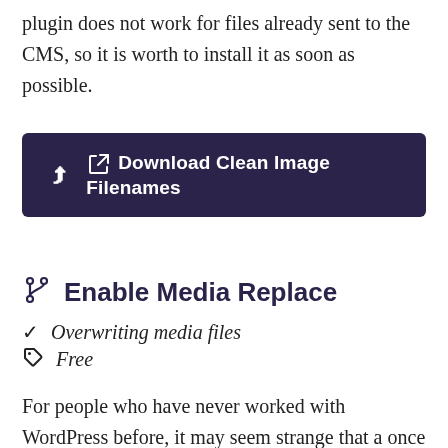plugin does not work for files already sent to the CMS, so it is worth to install it as soon as possible.
Download Clean Image Filenames
Enable Media Replace
Overwriting media files
Free
For people who have never worked with WordPress before, it may seem strange that a once uploaded file cannot be updated. You can upload a new one or delete an old one and upload the same file again. This imperfection is